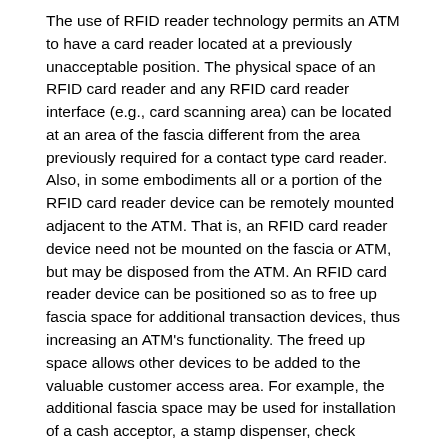The use of RFID reader technology permits an ATM to have a card reader located at a previously unacceptable position. The physical space of an RFID card reader and any RFID card reader interface (e.g., card scanning area) can be located at an area of the fascia different from the area previously required for a contact type card reader. Also, in some embodiments all or a portion of the RFID card reader device can be remotely mounted adjacent to the ATM. That is, an RFID card reader device need not be mounted on the fascia or ATM, but may be disposed from the ATM. An RFID card reader device can be positioned so as to free up fascia space for additional transaction devices, thus increasing an ATM's functionality. The freed up space allows other devices to be added to the valuable customer access area. For example, the additional fascia space may be used for installation of a cash acceptor, a stamp dispenser, check acceptor and/or an event ticket printer. Alternatively, in some embodiments the ability to eliminate the conventional card reader on the fascia can be used to produce more compact machines and/or user interfaces.
FIG. 3 shows an automated banking machine 40 similar to